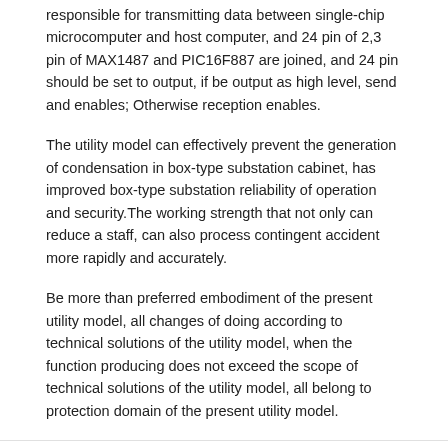responsible for transmitting data between single-chip microcomputer and host computer, and 24 pin of 2,3 pin of MAX1487 and PIC16F887 are joined, and 24 pin should be set to output, if be output as high level, send and enables; Otherwise reception enables.
The utility model can effectively prevent the generation of condensation in box-type substation cabinet, has improved box-type substation reliability of operation and security.The working strength that not only can reduce a staff, can also process contingent accident more rapidly and accurately.
Be more than preferred embodiment of the present utility model, all changes of doing according to technical solutions of the utility model, when the function producing does not exceed the scope of technical solutions of the utility model, all belong to protection domain of the present utility model.
Cited By (3)
| Publication number | Priority date | Publication date | Ass |
| --- | --- | --- | --- |